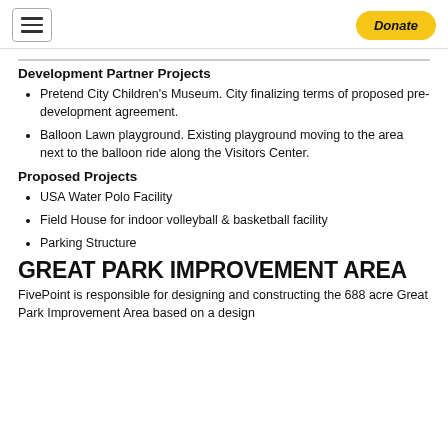Navigation menu | Donate
Development Partner Projects
Pretend City Children's Museum. City finalizing terms of proposed pre-development agreement.
Balloon Lawn playground. Existing playground moving to the area next to the balloon ride along the Visitors Center.
Proposed Projects
USA Water Polo Facility
Field House for indoor volleyball & basketball facility
Parking Structure
GREAT PARK IMPROVEMENT AREA
FivePoint is responsible for designing and constructing the 688 acre Great Park Improvement Area based on a design